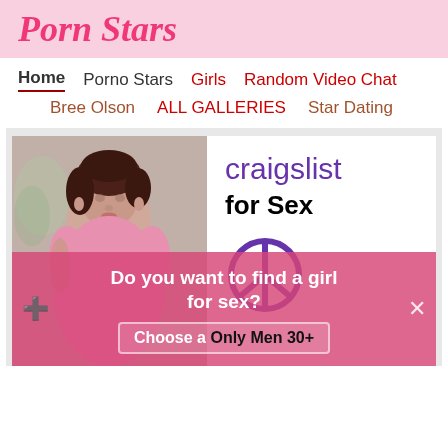Porn Stars
Home   Porno Stars   Girls   Random Video Chat
Bree Olson   ALL GALLERIES   Star Dating
[Figure (photo): Advertisement banner showing a woman on the left side and craigslist for Sex text with peace symbol on the right. Overlaid with pink popup asking 'Do you want to find a girl for sex?' with 'Choose a... Only Men 30+' button.]